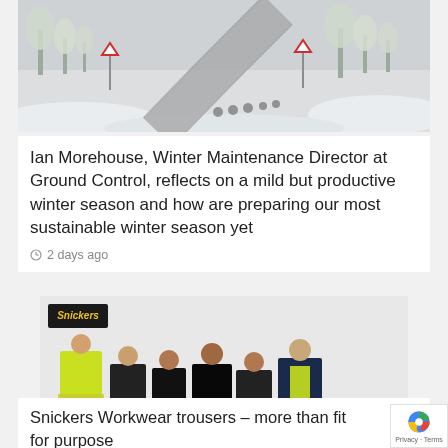[Figure (photo): Snowy road scene with yield signs and snow-covered trees]
Ian Morehouse, Winter Maintenance Director at Ground Control, reflects on a mild but productive winter season and how are preparing our most sustainable winter season yet
2 days ago
[Figure (photo): Group of six people wearing Snickers Workwear clothing including high-visibility jackets and work trousers, with Snickers logo in corner]
Snickers Workwear trousers – more than fit for purpose